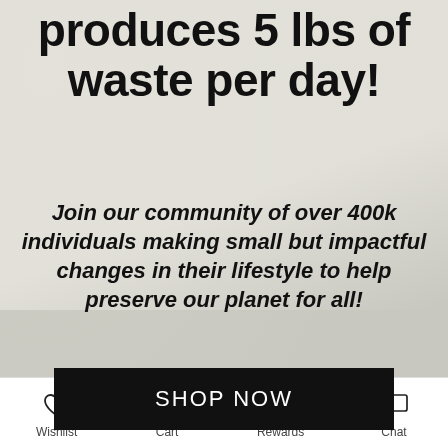produces 5 lbs of waste per day!
Join our community of over 400k individuals making small but impactful changes in their lifestyle to help preserve our planet for all!
SHOP NOW
[Figure (illustration): Infinity symbol/logo in light gray section]
Wishlist  Cart  Rewards  Chat